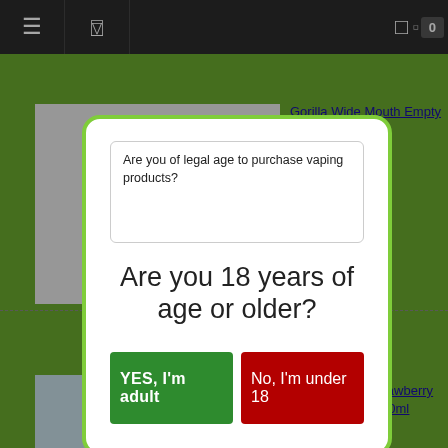Navigation bar with menu icons and cart showing 0 items
Gorilla Wide Mouth Empty E-juice
[Figure (screenshot): Age verification modal popup with green border on a website selling vaping products]
Are you of legal age to purchase vaping products?
Are you 18 years of age or older?
YES, I'm adult
No, I'm under 18
Pacha Mama Strawberry Jubilee Ice 30/120ml